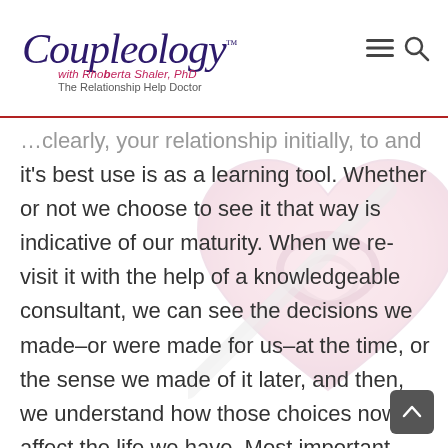Coupleology™ with Rhoberta Shaler, PhD — The Relationship Help Doctor
…clearly, your relationship initially, to and it's best use is as a learning tool. Whether or not we choose to see it that way is indicative of our maturity. When we re-visit it with the help of a knowledgeable consultant, we can see the decisions we made–or were made for us–at the time, or the sense we made of it later, and then, we understand how those choices now affect the life we have. Most important learning: what would you like to